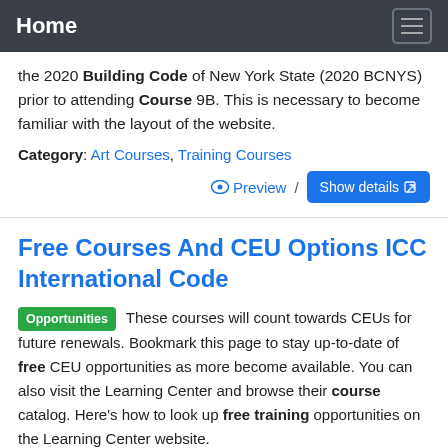Home
the 2020 Building Code of New York State (2020 BCNYS) prior to attending Course 9B. This is necessary to become familiar with the layout of the website.
Category: Art Courses, Training Courses
Preview / Show details
Free Courses And CEU Options ICC International Code
Opportunities These courses will count towards CEUs for future renewals. Bookmark this page to stay up-to-date of free CEU opportunities as more become available. You can also visit the Learning Center and browse their course catalog. Here's how to look up free training opportunities on the Learning Center website.